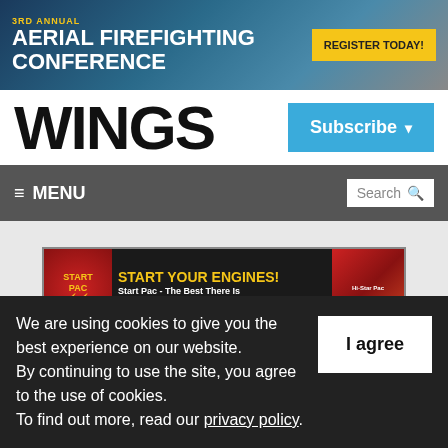[Figure (screenshot): Banner advertisement for 3rd Annual Aerial Firefighting Conference with 'Register Today!' button]
WINGS
[Figure (screenshot): Subscribe button (blue) with dropdown arrow]
≡ MENU
[Figure (screenshot): Search box with magnifying glass icon]
[Figure (screenshot): Start Pac advertisement banner: 'START YOUR ENGINES! START PAC - THE BEST THERE IS www.STARTPAC.com']
We are using cookies to give you the best experience on our website.
By continuing to use the site, you agree to the use of cookies.
To find out more, read our privacy policy.